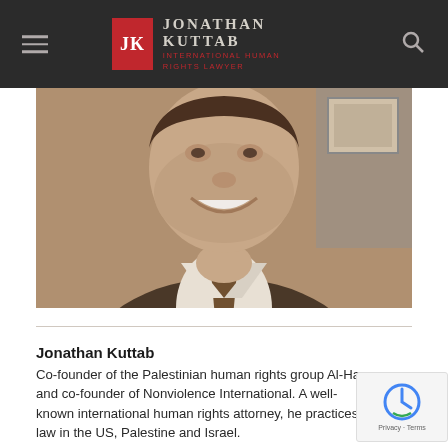Jonathan Kuttab — International Human Rights Lawyer
[Figure (photo): Close-up sepia-toned photograph of Jonathan Kuttab, smiling man in suit and tie]
Jonathan Kuttab
Co-founder of the Palestinian human rights group Al-Haq and co-founder of Nonviolence International. A well-known international human rights attorney, he practices law in the US, Palestine and Israel.